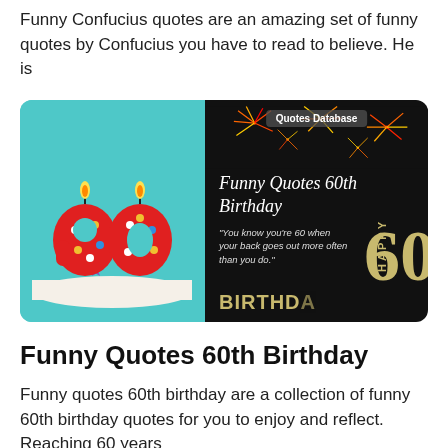Funny Confucius quotes are an amazing set of funny quotes by Confucius you have to read to believe. He is
[Figure (photo): Composite image showing a birthday cake with red '60' candles on a teal background on the left, and a dark promotional card with fireworks, 'Quotes Database' badge, title 'Funny Quotes 60th Birthday', a quote 'You know you're 60 when your back goes out more often than you do.', 'HAPPY 60 BIRTHDAY' text in gold on the right.]
Funny Quotes 60th Birthday
Funny quotes 60th birthday are a collection of funny 60th birthday quotes for you to enjoy and reflect. Reaching 60 years